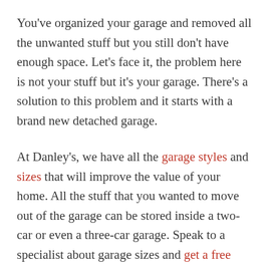You've organized your garage and removed all the unwanted stuff but you still don't have enough space. Let's face it, the problem here is not your stuff but it's your garage. There's a solution to this problem and it starts with a brand new detached garage.
At Danley's, we have all the garage styles and sizes that will improve the value of your home. All the stuff that you wanted to move out of the garage can be stored inside a two-car or even a three-car garage. Speak to a specialist about garage sizes and get a free quote online today.